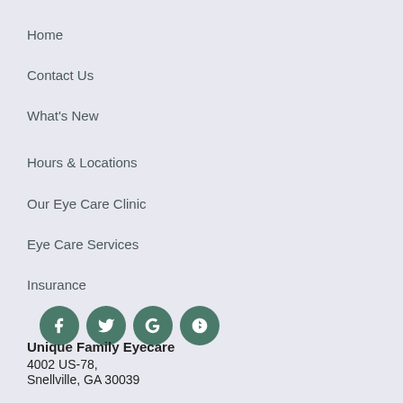Home
Contact Us
What's New
Hours & Locations
Our Eye Care Clinic
Eye Care Services
Insurance
[Figure (infographic): Row of four circular social media icon buttons: Facebook, Twitter, Google, Yelp — all in dark teal/green color]
Unique Family Eyecare
4002 US-78,
Snellville, GA 30039